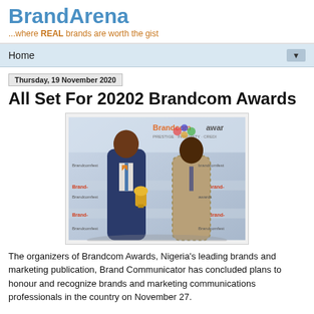BrandArena
...where REAL brands are worth the gist
Home ▼
Thursday, 19 November 2020
All Set For 20202 Brandcom Awards
[Figure (photo): Two men in suits standing in front of a Brandcom Awards branded backdrop. One man is holding a golden award trophy.]
The organizers of Brandcom Awards, Nigeria's leading brands and marketing publication, Brand Communicator has concluded plans to honour and recognize brands and marketing communications professionals in the country on November 27.